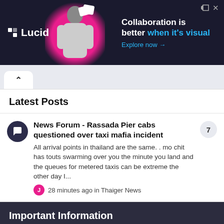[Figure (other): Lucid advertisement banner with logo, person image, and text 'Collaboration is better when it's visual. Explore now →']
^ (navigation tab/chevron)
Latest Posts
News Forum - Rassada Pier cabs questioned over taxi mafia incident
All arrival points in thailand are the same. . mo chit has touts swarming over you the minute you land and the queues for metered taxis can be extreme the other day I...
28 minutes ago in Thaiger News
Important Information
By posting on Thaiger Talk you agree to the Terms of Use
✓ I accept